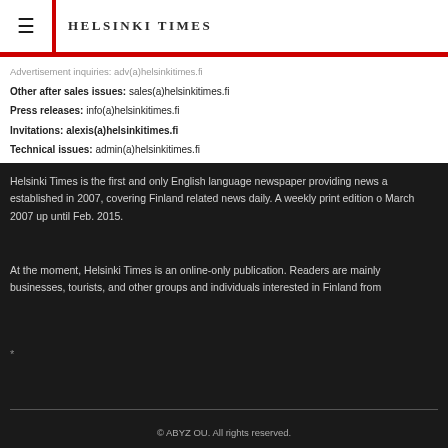HELSINKI TIMES
Advertisement inquiries: adv(a)helsinkitimes.fi
Other after sales issues: sales(a)helsinkitimes.fi
Press releases: info(a)helsinkitimes.fi
Invitations: alexis(a)helsinkitimes.fi
Technical issues: admin(a)helsinkitimes.fi
Helsinki Times is the first and only English language newspaper providing news a established in 2007, covering Finland related news daily. A weekly print edition o March 2007 up until Feb. 2015.
At the moment, Helsinki Times is an online-only publication. Readers are mainly businesses, tourists, and other groups and individuals interested in Finland from
*
© ABYZ OU. All rights reserved.